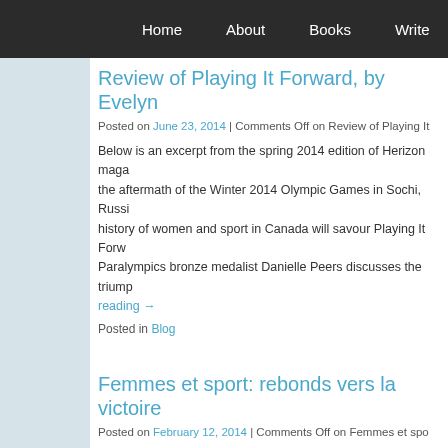Home  About  Books  Write  Journeys  Sup
Review of Playing It Forward, by Evelyn
Posted on June 23, 2014 | Comments Off on Review of Playing It
Below is an excerpt from the spring 2014 edition of Herizon maga the aftermath of the Winter 2014 Olympic Games in Sochi, Russi history of women and sport in Canada will savour Playing It Forw Paralympics bronze medalist Danielle Peers discusses the triump reading →
Posted in Blog
Femmes et sport: rebonds vers la victoire
Posted on February 12, 2014 | Comments Off on Femmes et spo
La Gazette des femmes has just published an article featuring Pl et sport: rebonds vers la victoire. Read it here. « C'est comme si on obtient quelque chose, on l'enlevait aux gars. C'est culturel : c garçons apprennent à être de vrais gars. … Continue reading →
Posted in Blog